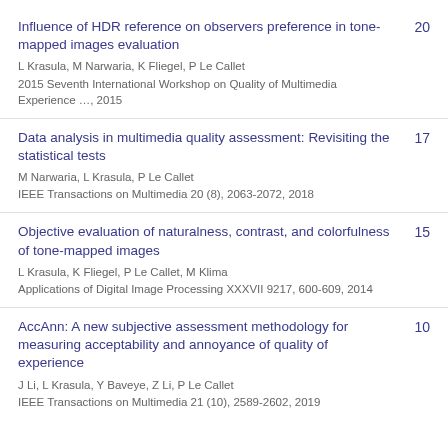Influence of HDR reference on observers preference in tone-mapped images evaluation | L Krasula, M Narwaria, K Fliegel, P Le Callet | 2015 Seventh International Workshop on Quality of Multimedia Experience …, 2015 | 20
Data analysis in multimedia quality assessment: Revisiting the statistical tests | M Narwaria, L Krasula, P Le Callet | IEEE Transactions on Multimedia 20 (8), 2063-2072, 2018 | 17
Objective evaluation of naturalness, contrast, and colorfulness of tone-mapped images | L Krasula, K Fliegel, P Le Callet, M Klima | Applications of Digital Image Processing XXXVII 9217, 600-609, 2014 | 15
AccAnn: A new subjective assessment methodology for measuring acceptability and annoyance of quality of experience | J Li, L Krasula, Y Baveye, Z Li, P Le Callet | IEEE Transactions on Multimedia 21 (10), 2589-2602, 2019 | 10